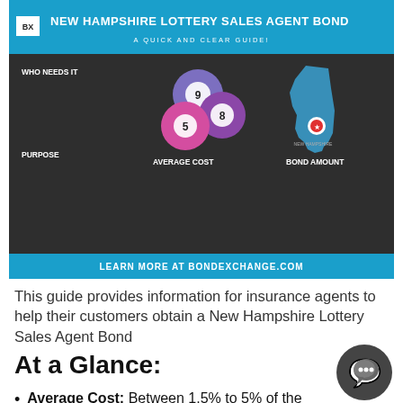[Figure (infographic): New Hampshire Lottery Sales Agent Bond infographic with blue header, dark body section showing Who Needs It, Purpose, Average Cost, Bond Amount sections, lottery ball illustration, NH state map, and blue footer with bondexchange.com URL]
This guide provides information for insurance agents to help their customers obtain a New Hampshire Lottery Sales Agent Bond
At a Glance:
Average Cost: Between 1.5% to 5% of the